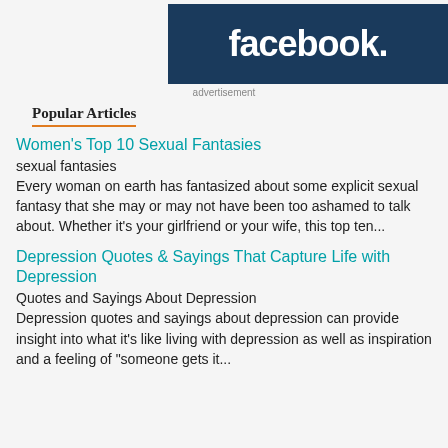[Figure (logo): Facebook logo banner — white bold 'facebook.' text on dark navy blue background]
advertisement
Popular Articles
Women's Top 10 Sexual Fantasies
sexual fantasies
Every woman on earth has fantasized about some explicit sexual fantasy that she may or may not have been too ashamed to talk about. Whether it's your girlfriend or your wife, this top ten...
Depression Quotes & Sayings That Capture Life with Depression
Quotes and Sayings About Depression
Depression quotes and sayings about depression can provide insight into what it's like living with depression as well as inspiration and a feeling of "someone gets it...